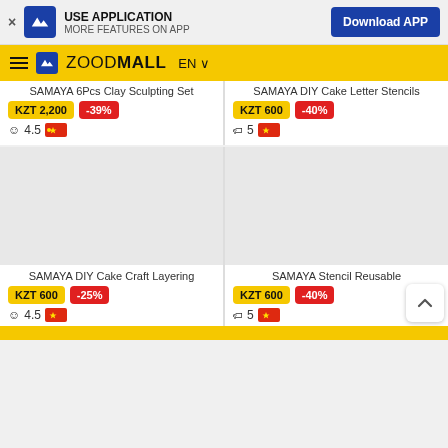USE APPLICATION MORE FEATURES ON APP | Download APP
ZOODMALL EN
SAMAYA 6Pcs Clay Sculpting Set
KZT 2,200 -39%
4.5
SAMAYA DIY Cake Letter Stencils
KZT 600 -40%
5
[Figure (photo): Product image placeholder for SAMAYA DIY Cake Craft Layering]
[Figure (photo): Product image placeholder for SAMAYA Stencil Reusable]
SAMAYA DIY Cake Craft Layering
KZT 600 -25%
4.5
SAMAYA Stencil Reusable
KZT 600 -40%
5